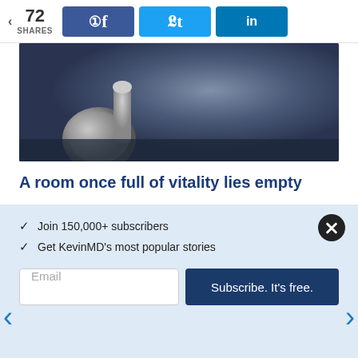72 SHARES
[Figure (photo): Close-up photo of a stethoscope on a dark surface]
A room once full of vitality lies empty
MENACHEM GUREVITZ, DO | PHYSICIAN
[Figure (photo): Balance scale with metal balls on a blurred gray background]
✓ Join 150,000+ subscribers
✓ Get KevinMD's most popular stories
Email  Subscribe. It's free.